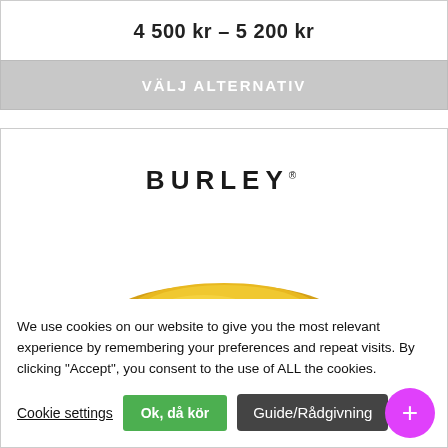4 500 kr – 5 200 kr
VÄLJ ALTERNATIV
[Figure (logo): BURLEY brand logo text in bold uppercase letters with trademark symbol]
[Figure (photo): Partial view of a yellow Burley child trailer/cargo product]
We use cookies on our website to give you the most relevant experience by remembering your preferences and repeat visits. By clicking "Accept", you consent to the use of ALL the cookies.
Cookie settings
Ok, då kör
Guide/Rådgivning